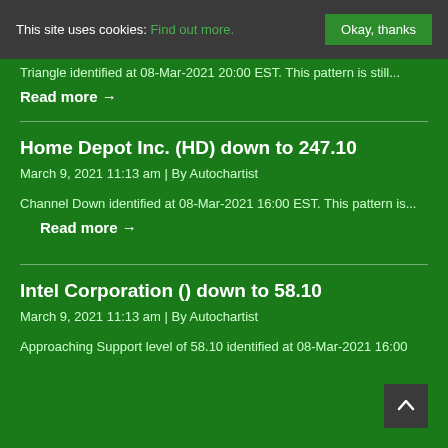This site uses cookies: Find out more. Okay, thanks
Triangle identified at 08-Mar-2021 20:00 EST. This pattern is still...
Read more →
Home Depot Inc. (HD) down to 247.10
March 9, 2021 11:13 am | By Autochartist
Channel Down identified at 08-Mar-2021 16:00 EST. This pattern is...
Read more →
Intel Corporation () down to 58.10
March 9, 2021 11:13 am | By Autochartist
Approaching Support level of 58.10 identified at 08-Mar-2021 16:00